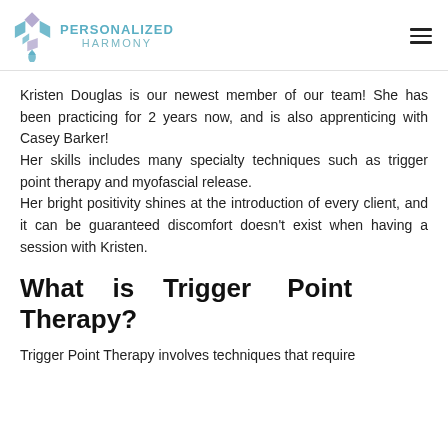PERSONALIZED HARMONY
Kristen Douglas is our newest member of our team! She has been practicing for 2 years now, and is also apprenticing with Casey Barker! Her skills includes many specialty techniques such as trigger point therapy and myofascial release. Her bright positivity shines at the introduction of every client, and it can be guaranteed discomfort doesn't exist when having a session with Kristen.
What is Trigger Point Therapy?
Trigger Point Therapy involves techniques that require